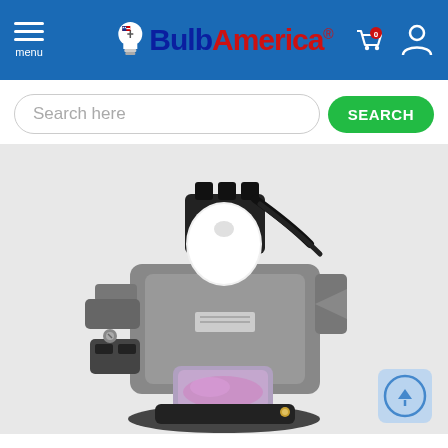[Figure (logo): BulbAmerica website header with blue background, hamburger menu icon on the left, BulbAmerica logo in the center (lightbulb icon with 'Bulb' in dark blue and 'America' in red, with registered trademark symbol), and shopping cart with 0 items and user account icon on the right.]
[Figure (screenshot): Search bar with placeholder text 'Search here' in a rounded rectangle input field, and a green 'SEARCH' button on the right.]
[Figure (photo): Product photo of a projector lamp/bulb module with gray housing, black electrical connectors at top, white cylindrical bulb body in the middle, and a pink/purple glass lamp element visible at the bottom front. A scroll-up button icon is visible in the bottom right corner.]